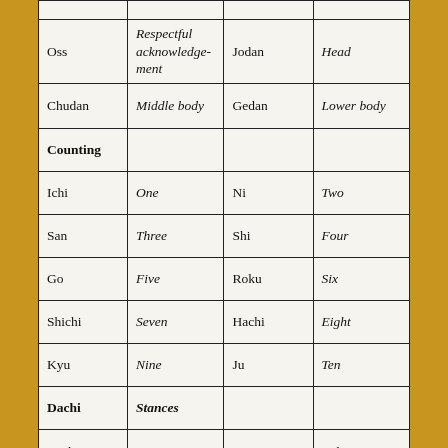|  |  |  |  |
| Oss | Respectful acknowledgement | Jodan | Head |
| Chudan | Middle body | Gedan | Lower body |
| Counting |  |  |  |
| Ichi | One | Ni | Two |
| San | Three | Shi | Four |
| Go | Five | Roku | Six |
| Shichi | Seven | Hachi | Eight |
| Kyu | Nine | Ju | Ten |
| Dachi | Stances |  |  |
| Zenkutsu dachi | Front stance | Kiba dachi | Side / Horse stance |
| Shiko dachi | Open leg / Sumo stance | Kokutsu dachi | Back stance |
|  |  |  |  |